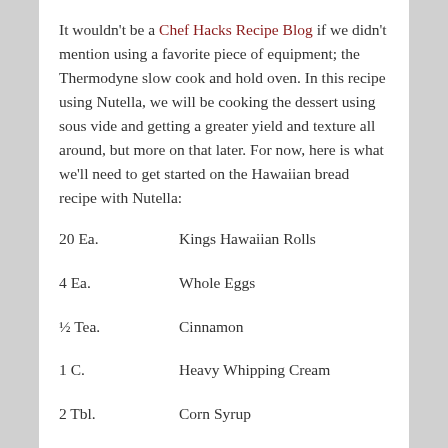It wouldn't be a Chef Hacks Recipe Blog if we didn't mention using a favorite piece of equipment; the Thermodyne slow cook and hold oven. In this recipe using Nutella, we will be cooking the dessert using sous vide and getting a greater yield and texture all around, but more on that later. For now, here is what we'll need to get started on the Hawaiian bread recipe with Nutella:
20 Ea.    Kings Hawaiian Rolls
4 Ea.    Whole Eggs
½ Tea.    Cinnamon
1 C.    Heavy Whipping Cream
2 Tbl.    Corn Syrup